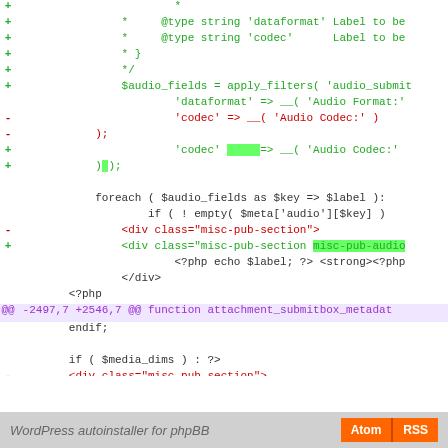[Figure (screenshot): Code diff view showing PHP code changes for WordPress audio fields and attachment submitbox metadata function, with added/removed lines highlighted in green and red, and a hunk header in purple]
WordPress autoinstaller for phpBB   Atom  RSS